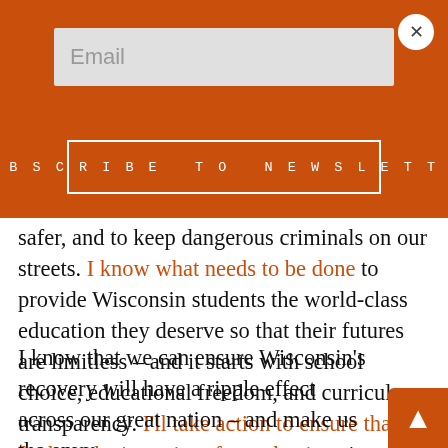[Figure (screenshot): Email newsletter subscription overlay banner with orange/burnt-orange background, a light gray email input field with placeholder text 'Email', and a 'Subscribe to Newsletter' button, plus a circular close (X) button in the top right.]
safer, and to keep dangerous criminals on our streets. I know what needs to be done to provide Wisconsin students the world-class education they deserve so that their futures are limitless – and it starts with school choice, educational freedom, and curriculum transparency. I'll take action to ensure that faith in the integrity of our elections is restored. And I've got the unique experiences and tools necessary to help our people and businesses to thrive and grow – so we can all best support our families.
I know that we can ensure Wisconsin's recovery will have a ripple effect across our great nation – and make us the envy of many. I encourage you all to join me in this fight to save our state, one step at a time. Forward.